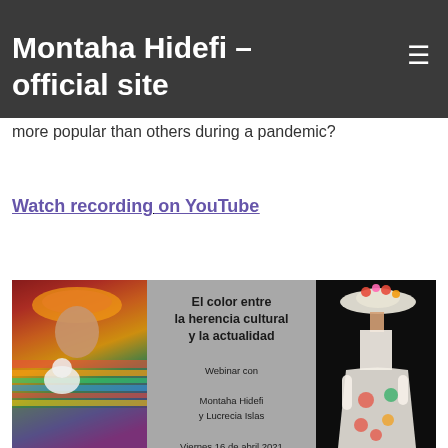Montaha Hidefi - official site
Editor-in-Chief of Paint & Coatings Industry magazine (PCI).
How has the pandemic impacted the color forecasting process? Do certain colors become more popular than others during a pandemic?
Watch recording on YouTube
[Figure (photo): Event promotional image showing two people in colorful traditional/fashion attire flanking a gray center panel with Spanish text: 'El color entre la herencia cultural y la actualidad' Webinar con Montaha Hidefi y Lucrecia Islas, Viernes 16 de abril 2021 11am CST (12 del dia EDT)]